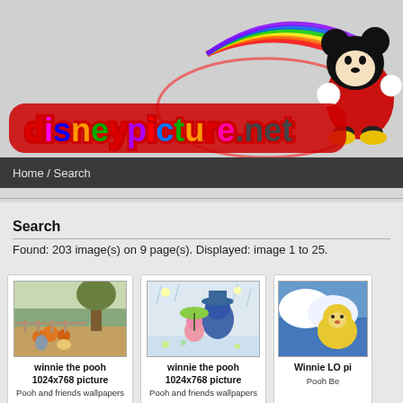[Figure (logo): DisneypPicture.net logo with colorful cartoon text and Mickey Mouse character]
Home / Search
Search
Found: 203 image(s) on 9 page(s). Displayed: image 1 to 25.
[Figure (photo): Winnie the Pooh and friends autumn/harvest scene wallpaper 1024x768]
winnie the pooh 1024x768 picture
Pooh and friends wallpapers
[Figure (photo): Winnie the Pooh rainy day scene wallpaper 1024x768]
winnie the pooh 1024x768 picture
Pooh and friends wallpapers
[Figure (photo): Winnie the Pooh on clouds, partial view]
Winnie LO pi
Pooh Be